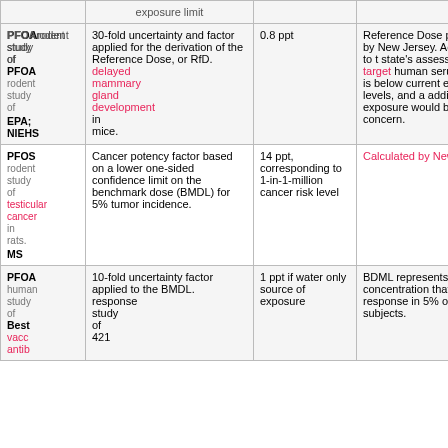| Chemical | Basis | Value | Notes |
| --- | --- | --- | --- |
| PFOA Rodent EPA; NIEHS | 30-fold uncertainty and factor applied for the derivation of the Reference Dose, or RfD. delayed mammary gland development in mice. | 0.8 ppt | Reference Dose published by New Jersey. According to the state's assessment, the target human serum level is below current exposure levels, and additional exposure would be a concern. |
| PFOS Rodent study of testicular cancer in rats. | Cancer potency factor based on a lower one-sided confidence limit on the benchmark dose (BMDL) for 5% tumor incidence. | 14 ppt, corresponding to 1-in-1-million cancer risk level | Calculated by New Jersey |
| PFOA Human study of vaccine antibody response | 10-fold uncertainty factor applied to the BMDL. | 1 ppt if water only source of exposure | BDML represents the concentration that elicits a response in 5% of the test subjects. |